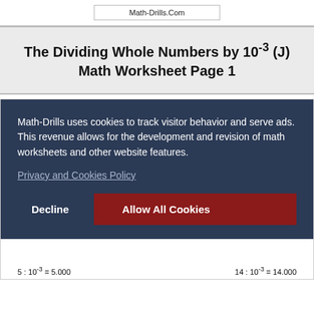Math-Drills.Com
The Dividing Whole Numbers by 10^-3 (J) Math Worksheet Page 1
Math-Drills uses cookies to track visitor behavior and serve ads. This revenue allows for the development and revision of math worksheets and other website features.
Privacy and Cookies Policy
Decline   Allow All Cookies
5 : 10^-3 = 5.000     14 : 10^-3 = 14.000